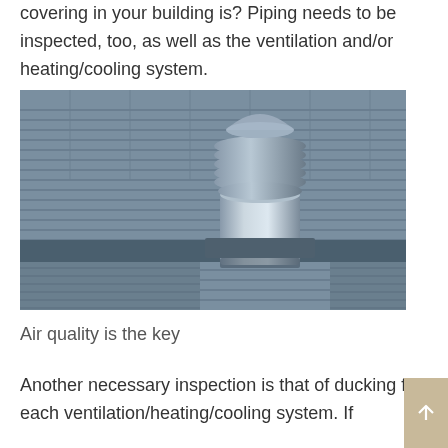covering in your building is? Piping needs to be inspected, too, as well as the ventilation and/or heating/cooling system.
[Figure (photo): Close-up photo of a metal HVAC roof ventilation unit mounted on a ribbed metal roof surface, shown in blue-grey tones.]
Air quality is the key
Another necessary inspection is that of ducking for each ventilation/heating/cooling system. If